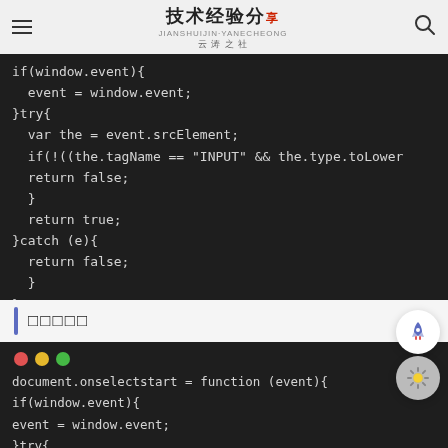技术经验分享
if(window.event){
  event = window.event;
}try{
  var the = event.srcElement;
  if(!((the.tagName == "INPUT" && the.type.toLower
  return false;
  }
  return true;
}catch (e){
  return false;
  }
}
□□□□□
document.onselectstart = function (event){
if(window.event){
event = window.event;
}try{
var the = event.srcElement;
if (!((the.tagName == "INPUT" && the.type.toLowe